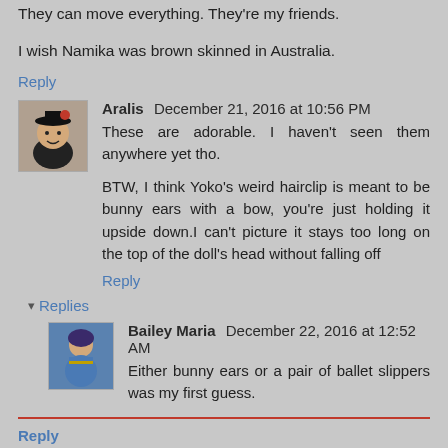They can move everything. They're my friends.
I wish Namika was brown skinned in Australia.
Reply
Aralis  December 21, 2016 at 10:56 PM
These are adorable. I haven't seen them anywhere yet tho.
BTW, I think Yoko's weird hairclip is meant to be bunny ears with a bow, you're just holding it upside down.I can't picture it stays too long on the top of the doll's head without falling off
Reply
Replies
Bailey Maria  December 22, 2016 at 12:52 AM
Either bunny ears or a pair of ballet slippers was my first guess.
Reply